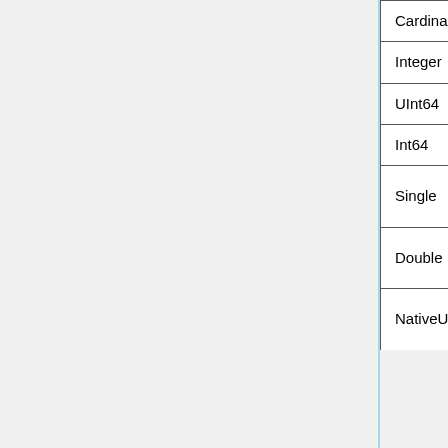| (partial) | (partial) | (partial) |
| --- | --- | --- |
| Cardinal |  | integer |
| Integer | int | 32 bit signed integer |
| UInt64 | ulong | 64 bit unsigned integer |
| Int64 | long | 64 bit signed integer |
| Single | float | IEEE 754 32 bit floating point |
| Double | double | IEEE 754 64 bit floating point |
| NativeUInt | size_t | library type, either an alias to a unsigned 32 bit integer |